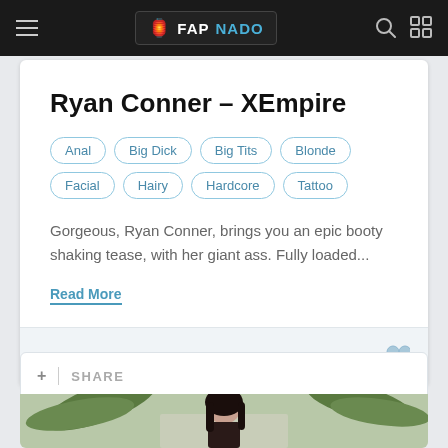FAPNADO
Ryan Conner – XEmpire
Anal
Big Dick
Big Tits
Blonde
Facial
Hairy
Hardcore
Tattoo
Gorgeous, Ryan Conner, brings you an epic booty shaking tease, with her giant ass. Fully loaded...
Read More
+ SHARE
[Figure (photo): Photo of a dark-haired woman outdoors with palm trees in the background]